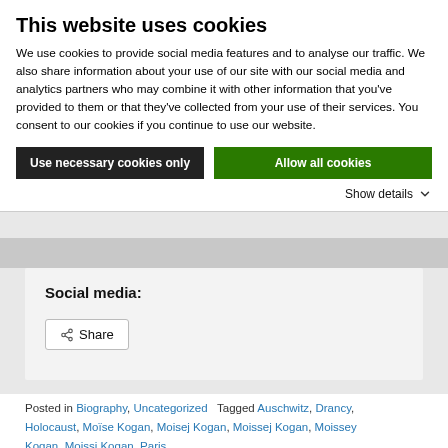This website uses cookies
We use cookies to provide social media features and to analyse our traffic. We also share information about your use of our site with our social media and analytics partners who may combine it with other information that you've provided to them or that they've collected from your use of their services. You consent to our cookies if you continue to use our website.
Use necessary cookies only | Allow all cookies | Show details
Social media:
Share
Posted in Biography, Uncategorized   Tagged Auschwitz, Drancy, Holocaust, Moïse Kogan, Moisej Kogan, Moissej Kogan, Moissey Kogan, Moissi Kogan, Paris